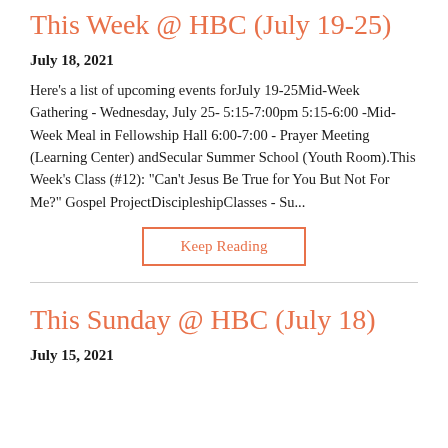This Week @ HBC (July 19-25)
July 18, 2021
Here's a list of upcoming events forJuly 19-25Mid-Week Gathering - Wednesday, July 25- 5:15-7:00pm 5:15-6:00 -Mid-Week Meal in Fellowship Hall 6:00-7:00 - Prayer Meeting (Learning Center) andSecular Summer School (Youth Room).This Week's Class (#12): "Can't Jesus Be True for You But Not For Me?" Gospel ProjectDiscipleshipClasses - Su...
Keep Reading
This Sunday @ HBC (July 18)
July 15, 2021